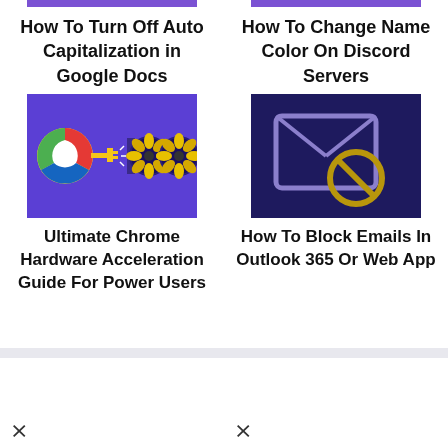[Figure (screenshot): Purple color bar above card 1]
[Figure (screenshot): Purple color bar above card 2]
How To Turn Off Auto Capitalization in Google Docs
How To Change Name Color On Discord Servers
[Figure (illustration): Chrome logo connected to GPU/fans on purple background — Chrome Hardware Acceleration illustration]
[Figure (illustration): Email envelope with blocked/no symbol on dark blue background — Block Emails illustration]
Ultimate Chrome Hardware Acceleration Guide For Power Users
How To Block Emails In Outlook 365 Or Web App